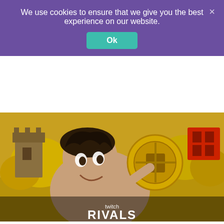We use cookies to ensure that we give you the best experience on our website.
Ok
[Figure (illustration): Twitch Rivals promotional game art showing an animated character holding a golden shield/wheel trophy, with pixel-art style castle and colorful background. Text reads 'twitch RIVALS' at bottom.]
Aug 18, 2022
hJune
@h7une
playing some @_EternalReturn_ tonight against viewers with @AdritomaV #ERxGenG #ad
new season starts on august 31st - download the game